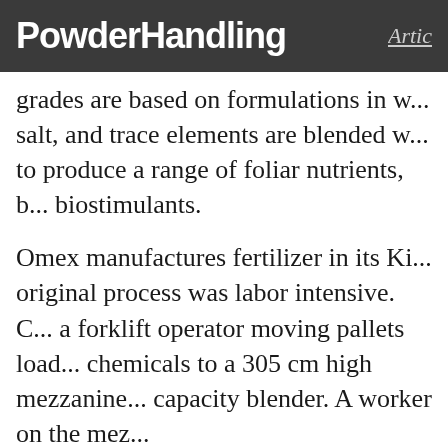PowderHandling  Artic
grades are based on formulations in w... salt, and trace elements are blended w... to produce a range of foliar nutrients, b... biostimulants.
Omex manufactures fertilizer in its Ki... original process was labor intensive. C... a forklift operator moving pallets load... chemicals to a 305 cm high mezzanine... capacity blender. A worker on the mez...